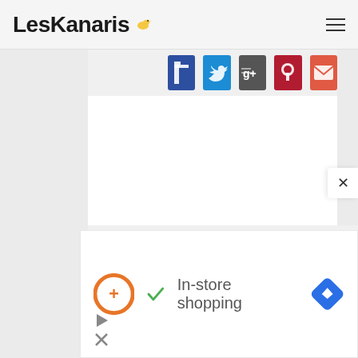LesKanaris
[Figure (screenshot): Social share buttons: Facebook (dark blue), Twitter (blue), Google+ (dark gray), Pinterest (dark red), Email (coral/orange-red)]
[Figure (screenshot): White content panel area, mostly blank]
[Figure (screenshot): Advertisement: orange circular logo with plus sign, green checkmark, text 'In-store shopping', blue diamond navigation icon. Small play and close controls at bottom left.]